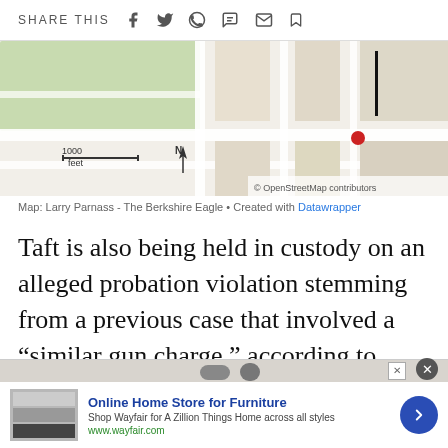SHARE THIS
[Figure (map): Street map showing a location marked with a red dot and a vertical black bar/pin, with compass north indicator and scale bar showing 1000 feet. Labels include 'SOUTH STREET'. © OpenStreetMap contributors.]
Map: Larry Parnass - The Berkshire Eagle • Created with Datawrapper
Taft is also being held in custody on an alleged probation violation stemming from a previous case that involved a “similar gun charge,” according to Dohoney. That issue will be adjudicated at a probation violation hearing.
[Figure (screenshot): Advertisement banner: Online Home Store for Furniture - Shop Wayfair for A Zillion Things Home across all styles. www.wayfair.com]